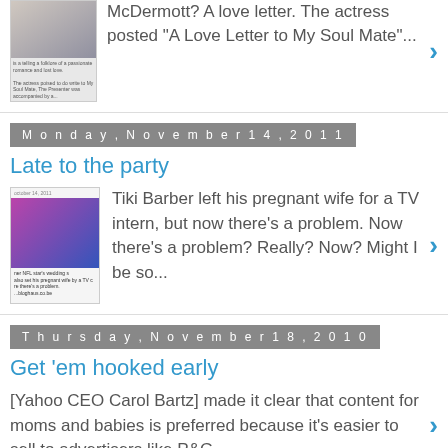McDermott? A love letter. The actress posted "A Love Letter to My Soul Mate"...
Monday, November 14, 2011
Late to the party
Tiki Barber left his pregnant wife for a TV intern, but now there's a problem. Now there's a problem? Really? Now?  Might I be so...
Thursday, November 18, 2010
Get 'em hooked early
[Yahoo CEO Carol Bartz] made it clear that content for moms and babies is preferred because it's easier to sell to advertisers like P&G...
Home
View web version